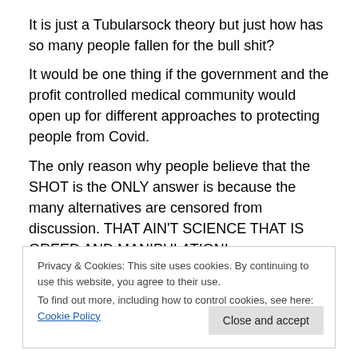It is just a Tubularsock theory but just how has so many people fallen for the bull shit?
It would be one thing if the government and the profit controlled medical community would open up for different approaches to protecting people from Covid.
The only reason why people believe that the SHOT is the ONLY answer is because the many alternatives are censored from discussion. THAT AIN'T SCIENCE THAT IS GREED AND MANIPULATION!
Privacy & Cookies: This site uses cookies. By continuing to use this website, you agree to their use.
To find out more, including how to control cookies, see here: Cookie Policy
Close and accept